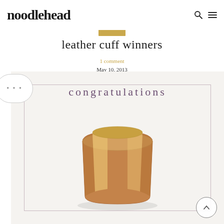noodlehead
leather cuff winners
1 comment
May 10, 2013
[Figure (photo): Photo of a tan leather cuff bracelet on a white surface with text 'congratulations' overlaid at the top and a thin rectangular border, muted purple/mauve tones. Background shows stacked fabric or paper items.]